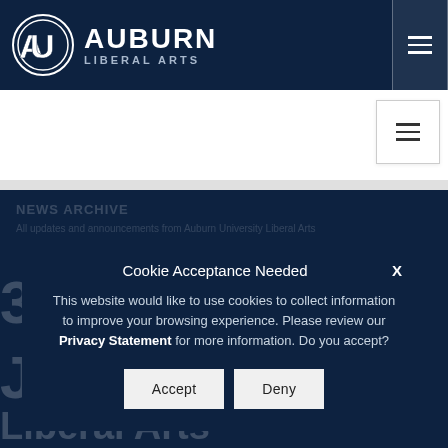[Figure (logo): Auburn University Liberal Arts logo with AU emblem and text 'AUBURN LIBERAL ARTS' on navy background]
Cookie Acceptance Needed
This website would like to use cookies to collect information to improve your browsing experience. Please review our Privacy Statement for more information. Do you accept?
Accept
Deny